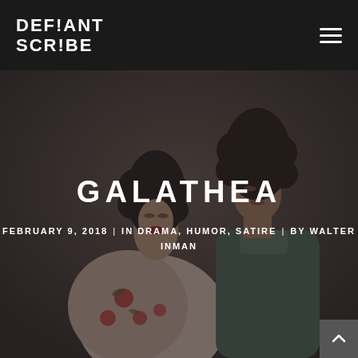DEFIANT SCRIBE
[Figure (photo): A couple in a romantic close pose, man with curly dark hair leaning toward woman with dark hair wearing a floral dress, dark moody background]
GALATHEA
FEBRUARY 9, 2018  |  IN DRAMA, HUMOR, SATIRE  |  BY WALTER INMAN